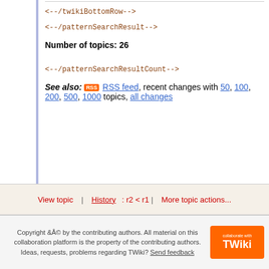<--/twikiSummary-->
<--/twikiBottomRow-->
<--/patternSearchResult-->
Number of topics: 26
<--/patternSearchResultCount-->
See also: RSS feed, recent changes with 50, 100, 200, 500, 1000 topics, all changes
View topic | History: r2 < r1 | More topic actions...
Copyright &A© by the contributing authors. All material on this collaboration platform is the property of the contributing authors. Ideas, requests, problems regarding TWiki? Send feedback